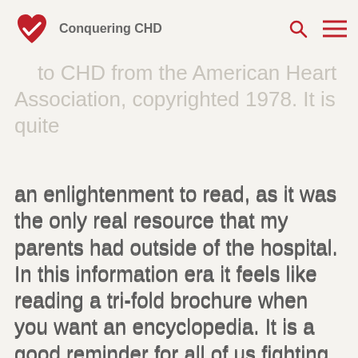Conquering CHD
going through some childhood... day I found an... to CHD from the American Heart Association, copyrighted 1978. It is quite an enlightenment to read, as it was the only real resource that my parents had outside of the hospital. In this information era it feels like reading a tri-fold brochure when you want an encyclopedia. It is a good reminder for all of us fighting for more to not forget to be thankful of how far we have come.
As most fathers mine was observing my birth but for him it was in the same hospital that he had already delivered so many babies as an OBGYN. So, when I was delivered and was extremely cyanotic I wonder at what point he really knew. I